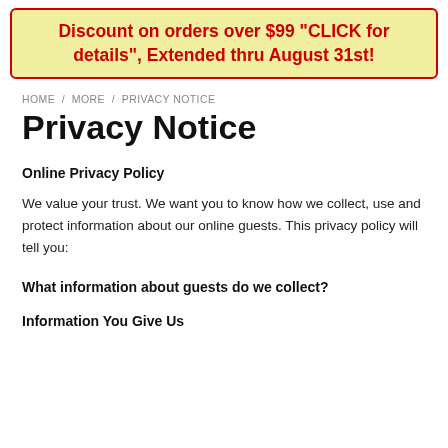Discount on orders over $99 "CLICK for details", Extended thru August 31st!
HOME / MORE / PRIVACY NOTICE
Privacy Notice
Online Privacy Policy
We value your trust. We want you to know how we collect, use and protect information about our online guests. This privacy policy will tell you:
What information about guests do we collect?
Information You Give Us